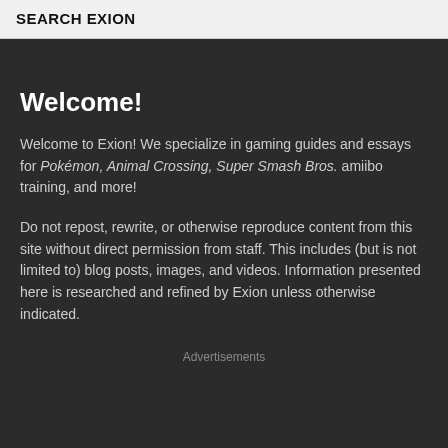SEARCH EXION
Welcome!
Welcome to Exion! We specialize in gaming guides and essays for Pokémon, Animal Crossing, Super Smash Bros. amiibo training, and more!
Do not repost, rewrite, or otherwise reproduce content from this site without direct permission from staff. This includes (but is not limited to) blog posts, images, and videos. Information presented here is researched and refined by Exion unless otherwise indicated.
Advertisements